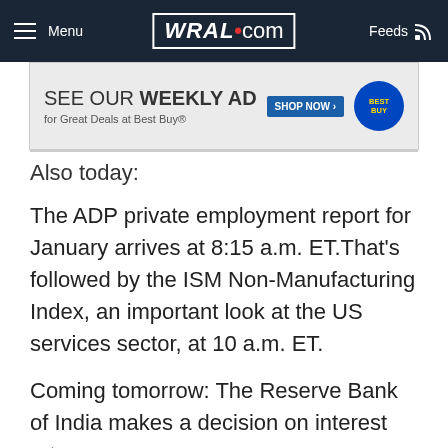WRAL.com — Menu | Feeds
[Figure (screenshot): Best Buy weekly ad banner: SEE OUR WEEKLY AD for Great Deals at Best Buy® SHOP NOW >]
Also today:
The ADP private employment report for January arrives at 8:15 a.m. ET.That's followed by the ISM Non-Manufacturing Index, an important look at the US services sector, at 10 a.m. ET.
Coming tomorrow: The Reserve Bank of India makes a decision on interest rates as